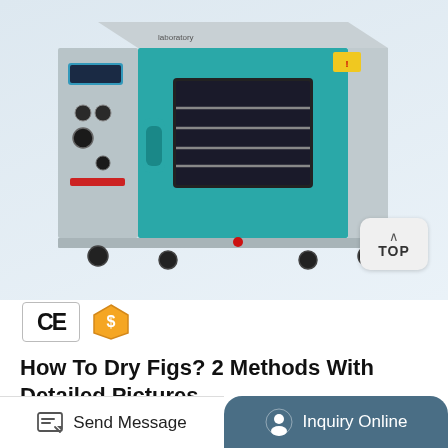[Figure (photo): Industrial laboratory drying oven with teal/blue door and stainless steel body, on wheels, with control panel on left side and glass window on door. A 'TOP' button is visible in bottom right of image area.]
[Figure (logo): CE certification badge and Alibaba gold supplier badge]
How To Dry Figs? 2 Methods With Detailed Pictures
Send Message
Inquiry Online